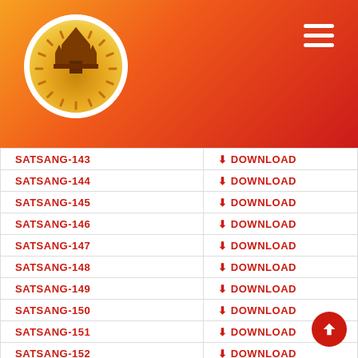[Figure (logo): Circular logo with sunburst and temple imagery on orange-to-red gradient header background, with hamburger menu icon top right]
| Name | Action |
| --- | --- |
| SATSANG-143 | ⬇ DOWNLOAD |
| SATSANG-144 | ⬇ DOWNLOAD |
| SATSANG-145 | ⬇ DOWNLOAD |
| SATSANG-146 | ⬇ DOWNLOAD |
| SATSANG-147 | ⬇ DOWNLOAD |
| SATSANG-148 | ⬇ DOWNLOAD |
| SATSANG-149 | ⬇ DOWNLOAD |
| SATSANG-150 | ⬇ DOWNLOAD |
| SATSANG-151 | ⬇ DOWNLOAD |
| SATSANG-152 | ⬇ DOWNLOAD |